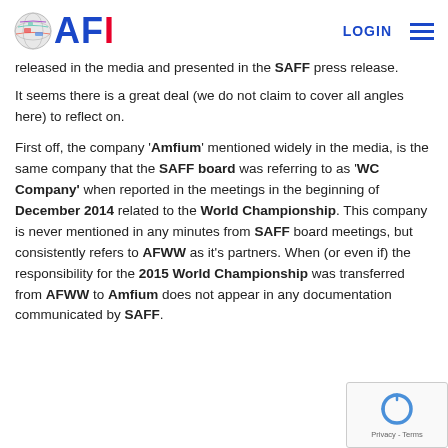AFI — LOGIN
released in the media and presented in the SAFF press release.
It seems there is a great deal (we do not claim to cover all angles here) to reflect on.
First off, the company 'Amfium' mentioned widely in the media, is the same company that the SAFF board was referring to as 'WC Company' when reported in the meetings in the beginning of December 2014 related to the World Championship. This company is never mentioned in any minutes from SAFF board meetings, but consistently refers to AFWW as it's partners. When (or even if) the responsibility for the 2015 World Championship was transferred from AFWW to Amfium does not appear in any documentation communicated by SAFF.
[Figure (other): reCAPTCHA Privacy-Terms widget]